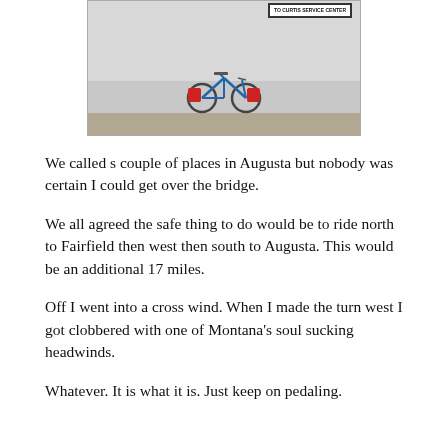[Figure (photo): A loaded touring bicycle parked against a building wall near a sign reading 'TO CURTIS SERVICE CENTER'. Red panniers are visible on the bike.]
We called s couple of places in Augusta but nobody was certain I could get over the bridge.
We all agreed the safe thing to do would be to ride north to Fairfield then west then south to Augusta. This would be an additional 17 miles.
Off I went into a cross wind. When I made the turn west I got clobbered with one of Montana's soul sucking headwinds.
Whatever. It is what it is. Just keep on pedaling.